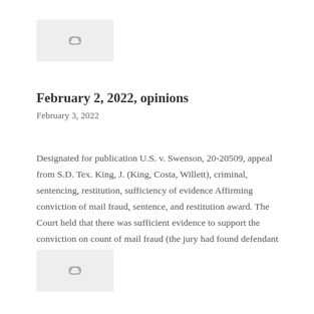[Figure (other): Placeholder image with chain link icon, top]
February 2, 2022, opinions
February 3, 2022
Designated for publication U.S. v. Swenson, 20-20509, appeal from S.D. Tex. King, J. (King, Costa, Willett), criminal, sentencing, restitution, sufficiency of evidence Affirming conviction of mail fraud, sentence, and restitution award. The Court held that there was sufficient evidence to support the conviction on count of mail fraud (the jury had found defendant not guilty … More
[Figure (other): Placeholder image with chain link icon, bottom]